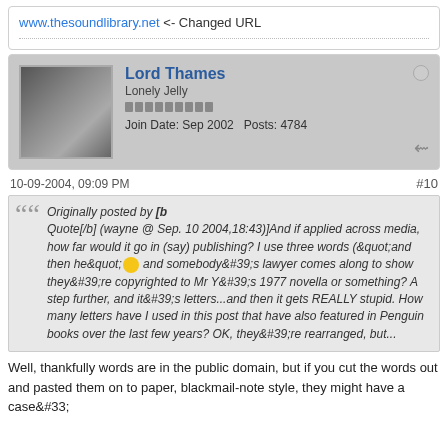www.thesoundlibrary.net <- Changed URL
Lord Thames
Lonely Jelly
Join Date: Sep 2002   Posts: 4784
10-09-2004, 09:09 PM
#10
Originally posted by [b Quote[/b] (wayne @ Sep. 10 2004,18:43)]And if applied across media, how far would it go in (say) publishing? I use three words (&quot;and then he&quot; and somebody&#39;s lawyer comes along to show they&#39;re copyrighted to Mr Y&#39;s 1977 novella or something? A step further, and it&#39;s letters...and then it gets REALLY stupid. How many letters have I used in this post that have also featured in Penguin books over the last few years? OK, they&#39;re rearranged, but...
Well, thankfully words are in the public domain, but if you cut the words out and pasted them on to paper, blackmail-note style, they might have a case&#33;